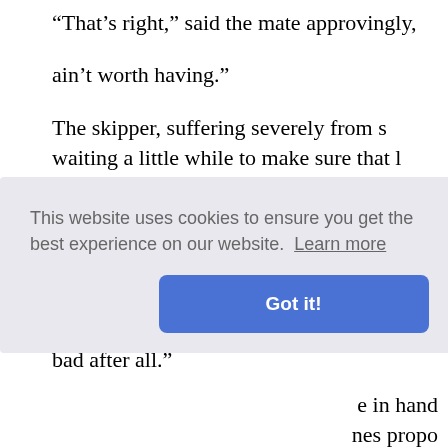"That's right," said the mate approvingly. ain't worth having."
The skipper, suffering severely from s waiting a little while to make sure that l the mate.
"If we can only take him to Battlesea i stand by me. His slippers and sou'-we needle you can lay your hands on ove piece of old sail or something. If we ca bad after all."
[Figure (screenshot): Cookie consent banner overlay showing text 'This website uses cookies to ensure you get the best experience on our website. Learn more' with a blue 'Got it!' button]
e in hand nes propo he youth a ways an per, whos t silent.